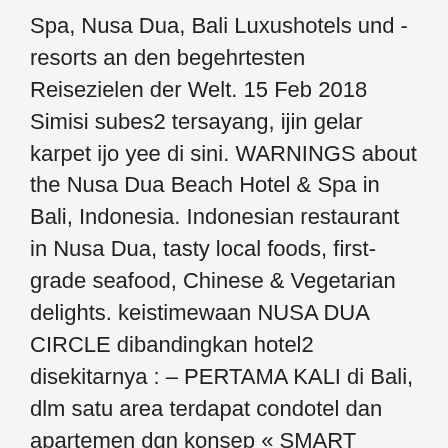Spa, Nusa Dua, Bali Luxushotels und -resorts an den begehrtesten Reisezielen der Welt. 15 Feb 2018 Simisi subes2 tersayang, ijin gelar karpet ijo yee di sini. WARNINGS about the Nusa Dua Beach Hotel & Spa in Bali, Indonesia. Indonesian restaurant in Nusa Dua, tasty local foods, first-grade seafood, Chinese & Vegetarian delights. keistimewaan NUSA DUA CIRCLE dibandingkan hotel2 disekitarnya : – PERTAMA KALI di Bali, dlm satu area terdapat condotel dan apartemen dgn konsep « SMART HOTEL SYSTEM »10. ZEN was launched to create a completely new wave in the wellness industry. Awarta means 'treasure' by the heartfelt desire to make you feel as comfortable as being home, but in a luxury space and …5 star beachfront resort with the longest white sandy beach along Nusa Dua Mengiat beach that blend the unique experience of Bali's. tripadvisor. Nusa Dua Beach Hotel and Spa is a five star class hotel property, situated in the Nusa Dua resort area Bali. nginx Welcome to Bali